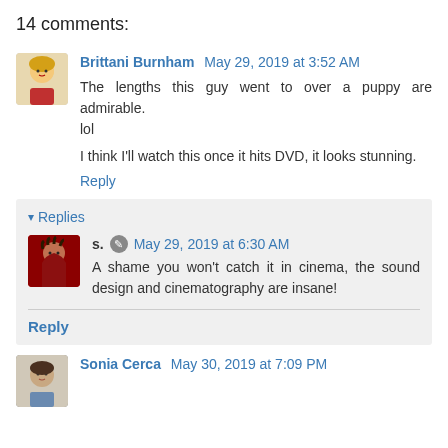14 comments:
Brittani Burnham May 29, 2019 at 3:52 AM
The lengths this guy went to over a puppy are admirable. lol

I think I'll watch this once it hits DVD, it looks stunning.
Reply
Replies
s. May 29, 2019 at 6:30 AM
A shame you won't catch it in cinema, the sound design and cinematography are insane!
Reply
Sonia Cerca May 30, 2019 at 7:09 PM